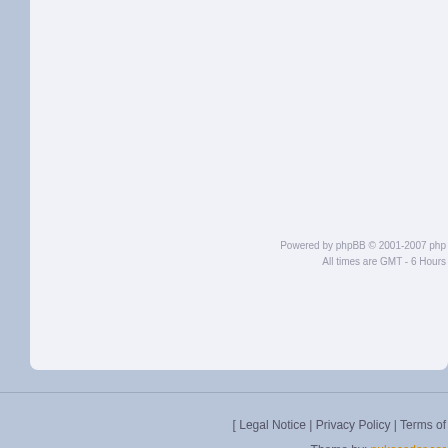Powered by phpBB © 2001-2007 php... All times are GMT - 6 Hours
[ Legal Notice | Privacy Policy | Terms of...
Theme by: nukecoder.com
All logos and trademarks in this site are property... The comments are property of their posters, all the r...
You can syndicate our news using the...
[Figure (logo): CSE HTML Validator 9 badge]
[Figure (logo): RSS Valid badge]
[Figure (logo): Validome RSS 2.0 badge]
Website engines core code is © copyright by PHP-Nuke but has been he... PHP-Nuke is free software released unde...